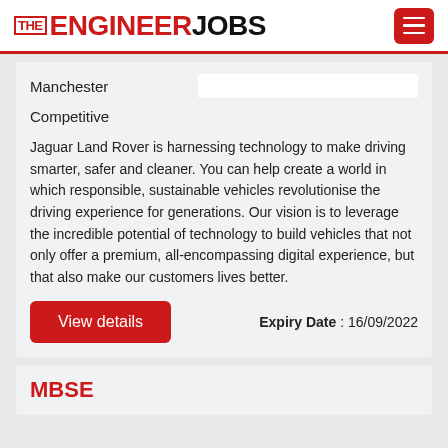[Figure (logo): THE ENGINEER JOBS logo with red and black text, hamburger menu button top right]
Manchester
Competitive
Jaguar Land Rover is harnessing technology to make driving smarter, safer and cleaner. You can help create a world in which responsible, sustainable vehicles revolutionise the driving experience for generations. Our vision is to leverage the incredible potential of technology to build vehicles that not only offer a premium, all-encompassing digital experience, but that also make our customers lives better.
View details
Expiry Date : 16/09/2022
MBSE